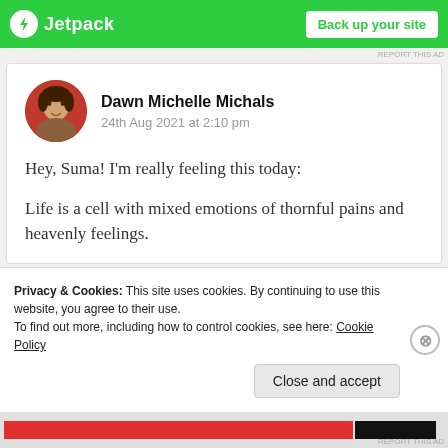[Figure (screenshot): Jetpack ad banner with green background, bolt icon, brand name, and 'Back up your site' button]
REPORT THIS AD
Dawn Michelle Michals
24th Aug 2021 at 2:10 pm

Hey, Suma! I'm really feeling this today:

Life is a cell with mixed emotions of thornful pains and heavenly feelings.
Privacy & Cookies: This site uses cookies. By continuing to use this website, you agree to their use.
To find out more, including how to control cookies, see here: Cookie Policy
Close and accept